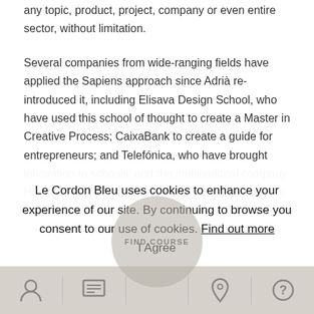any topic, product, project, company or even entire sector, without limitation.
Several companies from wide-ranging fields have applied the Sapiens approach since Adrià re-introduced it, including Elisava Design School, who have used this school of thought to create a Master in Creative Process; CaixaBank to create a guide for entrepreneurs; and Telefónica, who have brought innovation to schools; and the multinational company Huguette Permentier who seek to innovate in interior design.
Le Cordon Bleu uses cookies to enhance your experience of our site. By continuing to browse you consent to our use of cookies. Find out more
I Agree
FIND COURSE